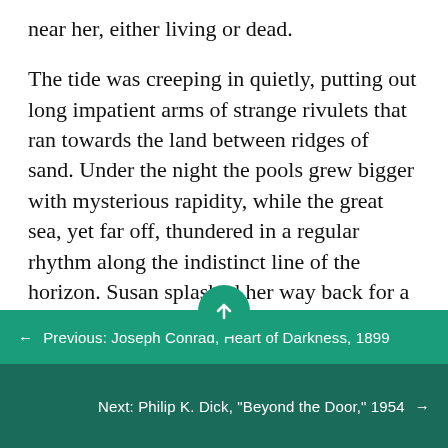near her, either living or dead.

The tide was creeping in quietly, putting out long impatient arms of strange rivulets that ran towards the land between ridges of sand. Under the night the pools grew bigger with mysterious rapidity, while the great sea, yet far off, thundered in a regular rhythm along the indistinct line of the horizon. Susan splashed her way back for a few yards without being able to get clear of the water that murmured tenderly all around and, suddenly, with a spiteful gurgle, nearly took her off her feet. Her heart thumped with fear. This place was too big
← Previous: Joseph Conrad, Heart of Darkness, 1899
Next: Philip K. Dick, "Beyond the Door," 1954 →